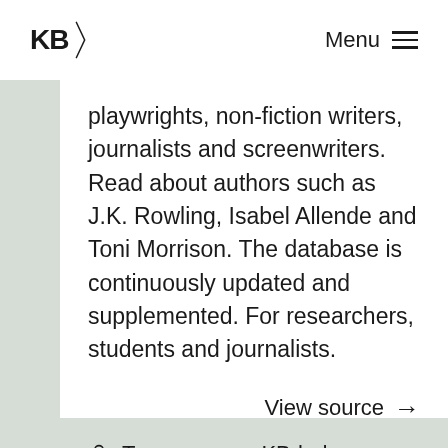KB Menu
playwrights, non-fiction writers, journalists and screenwriters. Read about authors such as J.K. Rowling, Isabel Allende and Toni Morrison. The database is continuously updated and supplemented. For researchers, students and journalists.
View source →
🔒 Toegang voor KB-leden